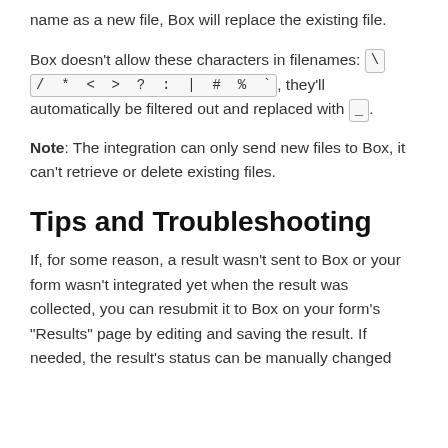name as a new file, Box will replace the existing file.
Box doesn't allow these characters in filenames: \ / * < > ? : | # % ` , they'll automatically be filtered out and replaced with _.
Note: The integration can only send new files to Box, it can't retrieve or delete existing files.
Tips and Troubleshooting
If, for some reason, a result wasn't sent to Box or your form wasn't integrated yet when the result was collected, you can resubmit it to Box on your form's "Results" page by editing and saving the result. If needed, the result's status can be manually changed